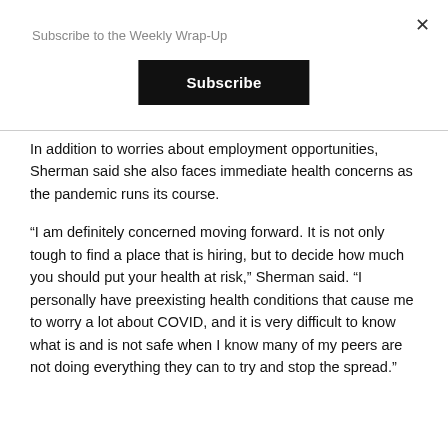Subscribe to the Weekly Wrap-Up
In addition to worries about employment opportunities, Sherman said she also faces immediate health concerns as the pandemic runs its course.
“I am definitely concerned moving forward. It is not only tough to find a place that is hiring, but to decide how much you should put your health at risk,” Sherman said. “I personally have preexisting health conditions that cause me to worry a lot about COVID, and it is very difficult to know what is and is not safe when I know many of my peers are not doing everything they can to try and stop the spread.”